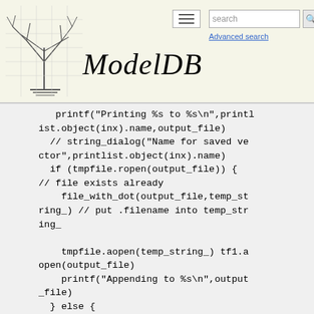ModelDB — Advanced search header with logo
printf("Printing %s to %s\n",printlist.object(inx).name,output_file)
  // string_dialog("Name for saved vector",printlist.object(inx).name)
  if (tmpfile.ropen(output_file)) { // file exists already
      file_with_dot(output_file,temp_string_) // put .filename into temp_string_

      tmpfile.aopen(temp_string_) tf1.aopen(output_file)
      printf("Appending to %s\n",output_file)
  } else {
      pvplist0()
      pvplist1(comment)
  }
  pvpone()
  tmpfile.close()
  tf1.close